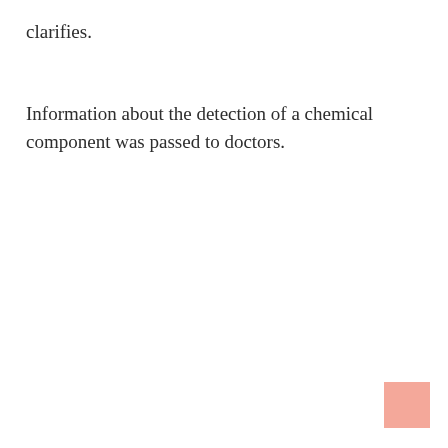clarifies.
Information about the detection of a chemical component was passed to doctors.